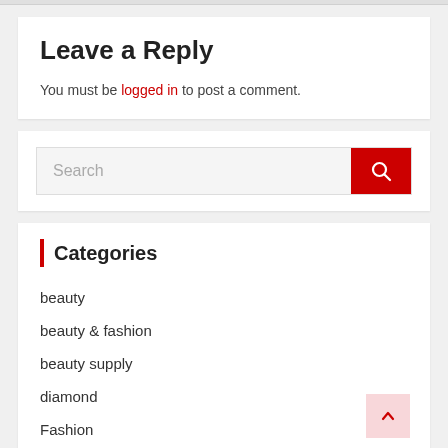Leave a Reply
You must be logged in to post a comment.
Categories
beauty
beauty & fashion
beauty supply
diamond
Fashion